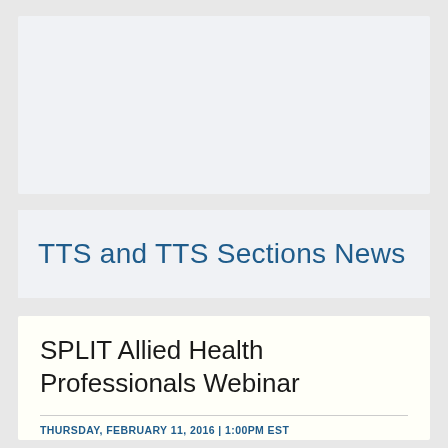[Figure (other): Empty light gray card/image placeholder at top of page]
TTS and TTS Sections News
SPLIT Allied Health Professionals Webinar
THURSDAY, FEBRUARY 11, 2016 | 1:00PM EST